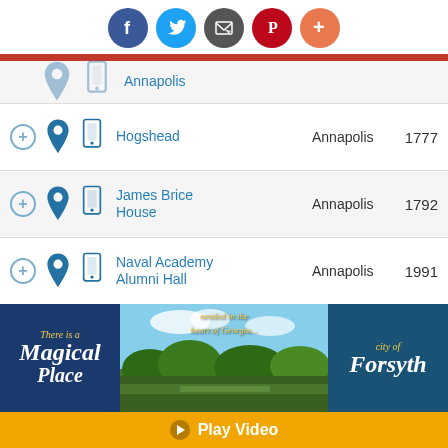[Figure (screenshot): Social media share icons: Facebook, Twitter, Email, Pinterest, and a plus button]
|  |  |  | Name | City | Year |
| --- | --- | --- | --- | --- | --- |
|  |  |  | Annapolis |  |  |
|  |  |  | Hogshead | Annapolis | 1777 |
|  |  |  | James Brice House | Annapolis | 1792 |
|  |  |  | Naval Academy Alumni Hall | Annapolis | 1991 |
|  |  |  | Navy-Marine Corps Memorial Stadium | Annapolis | 1959 |
[Figure (infographic): Advertisement banner: 'There is a Magical Place nestled in the heart of Georgia... City of Forsyth' with landscape photo]
Play Video